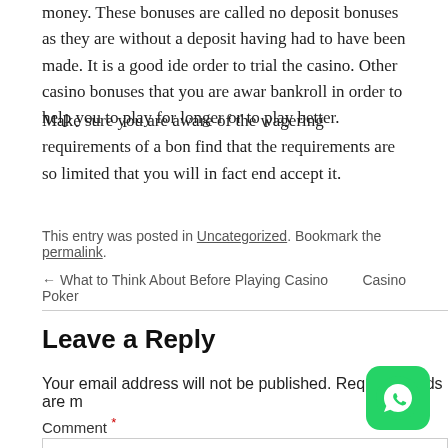money. These bonuses are called no deposit bonuses as they are without a deposit having had to have been made. It is a good ide order to trial the casino. Other casino bonuses that you are awar bankroll in order to help you to play for longer or to play better.
Make sure you are aware of the wagering requirements of a bon find that the requirements are so limited that you will in fact end accept it.
This entry was posted in Uncategorized. Bookmark the permalink.
← What to Think About Before Playing Casino Poker   Casino
Leave a Reply
Your email address will not be published. Required fields are m
Comment *